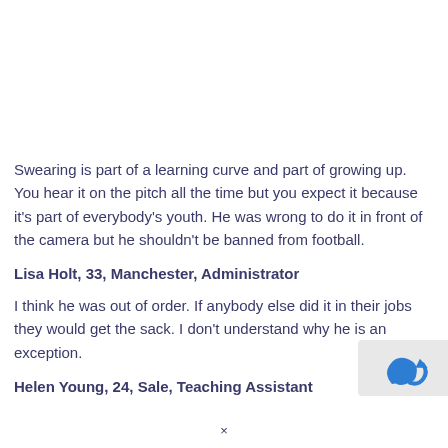Swearing is part of a learning curve and part of growing up. You hear it on the pitch all the time but you expect it because it's part of everybody's youth. He was wrong to do it in front of the camera but he shouldn't be banned from football.
Lisa Holt, 33, Manchester, Administrator
I think he was out of order. If anybody else did it in their jobs they would get the sack. I don't understand why he is an exception.
Helen Young, 24, Sale, Teaching Assistant
×